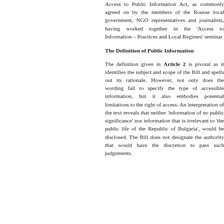Access to Public Information Act, as commonly agreed on by the members of the Rousse local government, NGO representatives and journalists, having worked together in the 'Access to Information – Practices and Local Regimes' seminar.
The Definition of Public Information
The definition given in Article 2 is pivotal as it identifies the subject and scope of the Bill and spells out its rationale. However, not only does the wording fail to specify the type of accessible information, but it also embodies potential limitations to the right of access. An interpretation of the text reveals that neither 'information of no public significance' nor information that is irrelevant to 'the public life of the Republic of Bulgaria', would be disclosed. The Bill does not designate the authority that would have the discretion to pass such judgements.